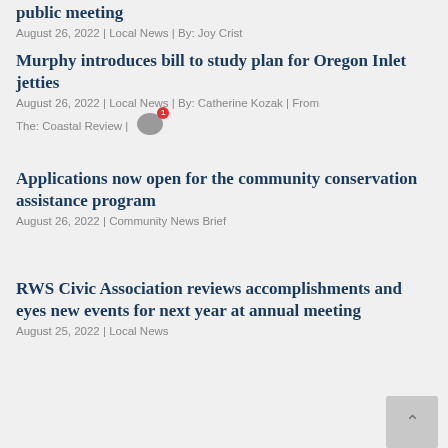public meeting
August 26, 2022 | Local News | By: Joy Crist
Murphy introduces bill to study plan for Oregon Inlet jetties
August 26, 2022 | Local News | By: Catherine Kozak | From The: Coastal Review |
Applications now open for the community conservation assistance program
August 26, 2022 | Community News Brief
RWS Civic Association reviews accomplishments and eyes new events for next year at annual meeting
August 25, 2022 | Local News
South Point on Ocracoke reopens, and more National Seashore updates for the week of Aug. 25
August 25, 2022 | Seashore News
Sea turtle nest excavation to take place in Buxton on Friday, Aug. 26
August 25, 2022 | Seashore News | By: Joy Crist
Online survey launched to evaluate overall health of the Outer Banks' visitor